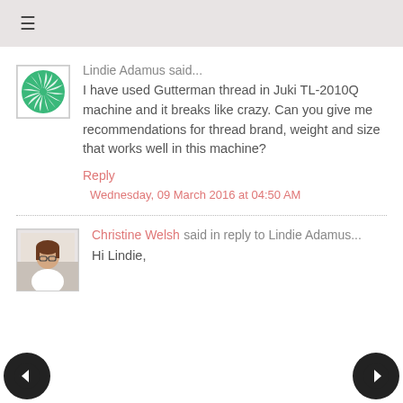≡
[Figure (illustration): Green sunburst/spiral avatar icon with white border on white background]
Lindie Adamus said...
I have used Gutterman thread in Juki TL-2010Q machine and it breaks like crazy. Can you give me recommendations for thread brand, weight and size that works well in this machine?
Reply
Wednesday, 09 March 2016 at 04:50 AM
[Figure (photo): Photo of Christine Welsh - woman with glasses, brown hair, white top]
Christine Welsh said in reply to Lindie Adamus...
Hi Lindie,